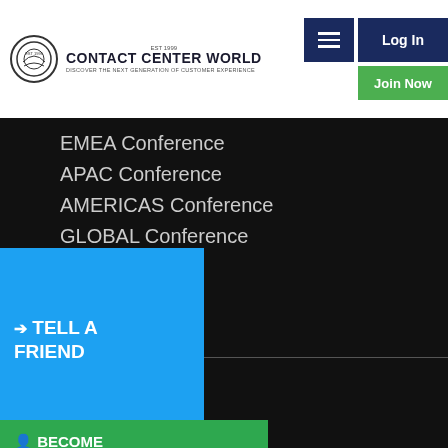Contact Center World – Discover The Next Generation Of Customer Experience
EMEA Conference
APAC Conference
AMERICAS Conference
GLOBAL Conference
...te in Best
...s
...tact Center
Other Events
...nt
...ents
TELL A FRIEND
BECOME A MEMBER TODAY TO: Network Post Content Enter Awards + Much More
...rs
...onsor
...am